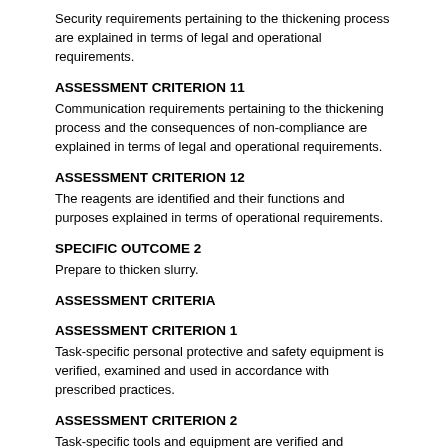Security requirements pertaining to the thickening process are explained in terms of legal and operational requirements.
ASSESSMENT CRITERION 11
Communication requirements pertaining to the thickening process and the consequences of non-compliance are explained in terms of legal and operational requirements.
ASSESSMENT CRITERION 12
The reagents are identified and their functions and purposes explained in terms of operational requirements.
SPECIFIC OUTCOME 2
Prepare to thicken slurry.
ASSESSMENT CRITERIA
ASSESSMENT CRITERION 1
Task-specific personal protective and safety equipment is verified, examined and used in accordance with prescribed practices.
ASSESSMENT CRITERION 2
Task-specific tools and equipment are verified and examined in accordance with prescribed practice.
ASSESSMENT CRITERION 3